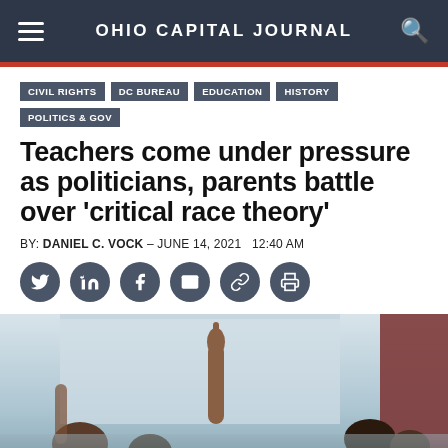OHIO CAPITAL JOURNAL
CIVIL RIGHTS
DC BUREAU
EDUCATION
HISTORY
POLITICS & GOV
Teachers come under pressure as politicians, parents battle over 'critical race theory'
BY: DANIEL C. VOCK – JUNE 14, 2021   12:40 AM
[Figure (photo): A classroom scene with a student raising their hand, viewed from behind with other students visible. Blurred background showing windows and a red/brown wall.]